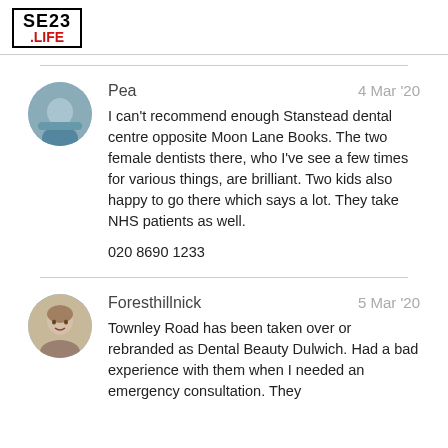SE23 .LIFE
Pea
4 Mar '20
I can't recommend enough Stanstead dental centre opposite Moon Lane Books. The two female dentists there, who I've see a few times for various things, are brilliant. Two kids also happy to go there which says a lot. They take NHS patients as well.
020 8690 1233
Foresthillnick
5 Mar '20
Townley Road has been taken over or rebranded as Dental Beauty Dulwich. Had a bad experience with them when I needed an emergency consultation. They